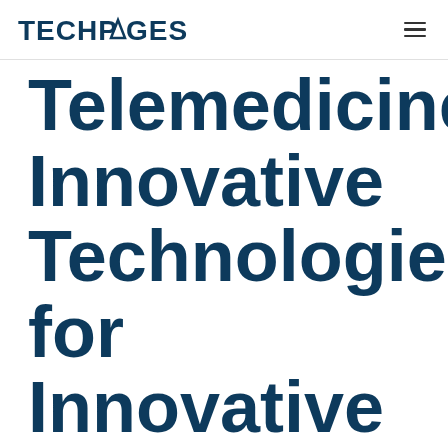TECHPAGES
Telemedicine: Innovative Technologies for Innovative Future